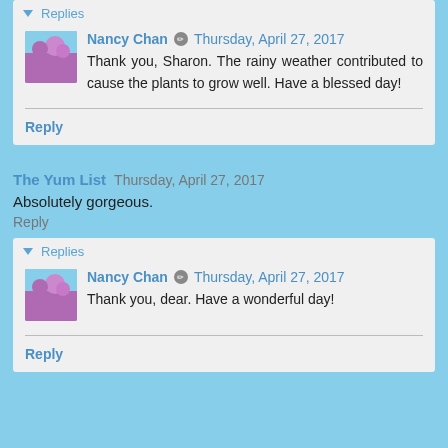▾ Replies
Nancy Chan ✏ Thursday, April 27, 2017
Thank you, Sharon. The rainy weather contributed to cause the plants to grow well. Have a blessed day!
Reply
The Yum List   Thursday, April 27, 2017
Absolutely gorgeous.
Reply
▾ Replies
Nancy Chan ✏ Thursday, April 27, 2017
Thank you, dear. Have a wonderful day!
Reply